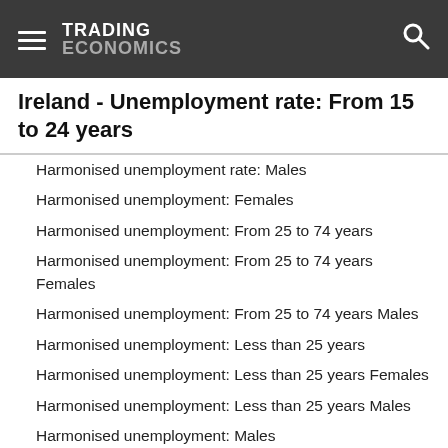TRADING ECONOMICS
Ireland - Unemployment rate: From 15 to 24 years
Harmonised unemployment rate: Males
Harmonised unemployment: Females
Harmonised unemployment: From 25 to 74 years
Harmonised unemployment: From 25 to 74 years Females
Harmonised unemployment: From 25 to 74 years Males
Harmonised unemployment: Less than 25 years
Harmonised unemployment: Less than 25 years Females
Harmonised unemployment: Less than 25 years Males
Harmonised unemployment: Males
Hours worked per week of full-time employment
Hours worked per week of part-time employment
Inactive population due to caring responsibilities
Inactive population due to caring responsibilities: Females
Inactive population due to caring responsibilities: Males
Jobless households
Jobless households: Females
Jobless households: Males